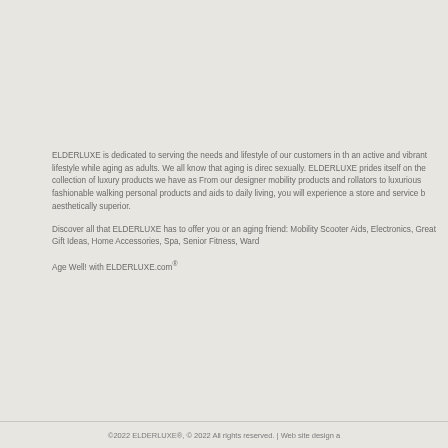ELDERLUXE is dedicated to serving the needs and lifestyle of our customers in th... an active and vibrant lifestyle while aging as adults. We all know that aging is direc... sexually. ELDERLUXE prides itself on the collection of luxury products we have as... From our designer mobility products and rollators to luxurious fashionable walking... personal products and aids to daily living, you will experience a store and service b... aesthetically superior.
Discover all that ELDERLUXE has to offer you or an aging friend: Mobility Scooter... Aids, Electronics, Great Gift Ideas, Home Accessories, Spa, Senior Fitness, Ward...
Age Well! with ELDERLUXE.com®
©2022 ELDERLUXE®, © 2022 All rights reserved. | Web site design a...